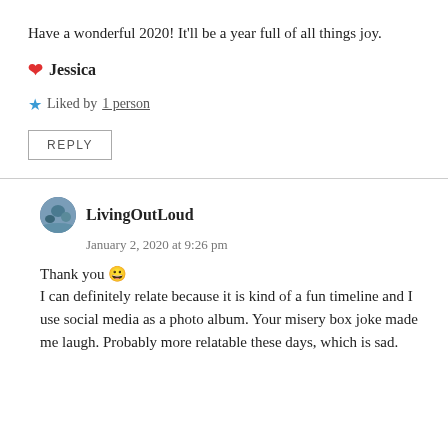Have a wonderful 2020! It'll be a year full of all things joy.
❤ Jessica
★ Liked by 1 person
REPLY
LivingOutLoud
January 2, 2020 at 9:26 pm
Thank you 🙂 I can definitely relate because it is kind of a fun timeline and I use social media as a photo album. Your misery box joke made me laugh. Probably more relatable these days, which is sad.